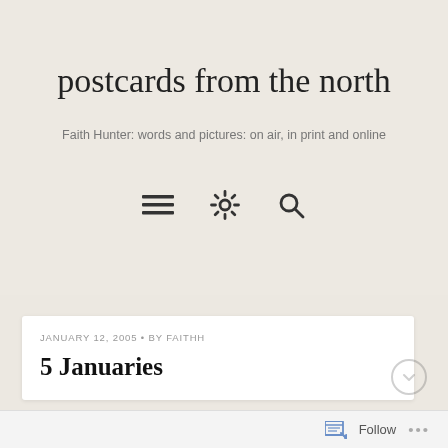postcards from the north
Faith Hunter: words and pictures: on air, in print and online
[Figure (other): Navigation icons: hamburger menu, settings gear, and search magnifier]
JANUARY 12, 2005 • BY FAITHH
5 Januaries
Follow ...